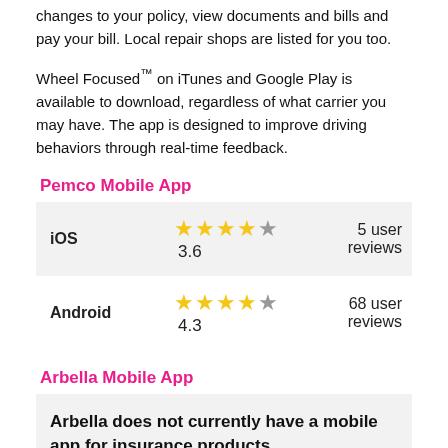changes to your policy, view documents and bills and pay your bill. Local repair shops are listed for you too.
Wheel Focused™ on iTunes and Google Play is available to download, regardless of what carrier you may have. The app is designed to improve driving behaviors through real-time feedback.
Pemco Mobile App
| Platform | Rating | Reviews |
| --- | --- | --- |
| iOS | ★★★★☆ 3.6 | 5 user reviews |
| Android | ★★★★☆ 4.3 | 68 user reviews |
Arbella Mobile App
Arbella does not currently have a mobile app for insurance products.